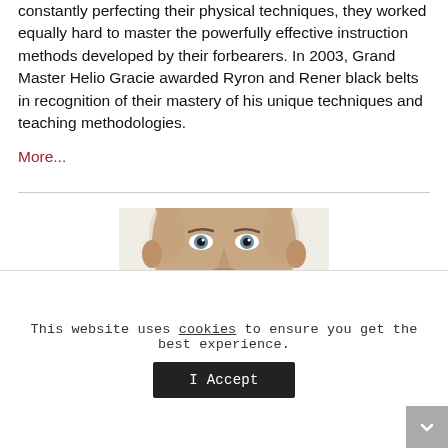constantly perfecting their physical techniques, they worked equally hard to master the powerfully effective instruction methods developed by their forbearers. In 2003, Grand Master Helio Gracie awarded Ryron and Rener black belts in recognition of their mastery of his unique techniques and teaching methodologies.
More...
[Figure (photo): Headshot photo of a smiling bald man with light stubble, cropped at the shoulders, centered on the page.]
This website uses cookies to ensure you get the best experience.